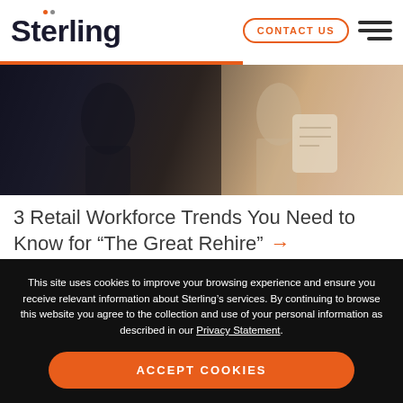Sterling | CONTACT US
[Figure (photo): Blurred photo of office workers reviewing documents, dark tones on the left, lighter on the right]
3 Retail Workforce Trends You Need to Know for “The Great Rehire” →
This site uses cookies to improve your browsing experience and ensure you receive relevant information about Sterling’s services. By continuing to browse this website you agree to the collection and use of your personal information as described in our Privacy Statement.
ACCEPT COOKIES